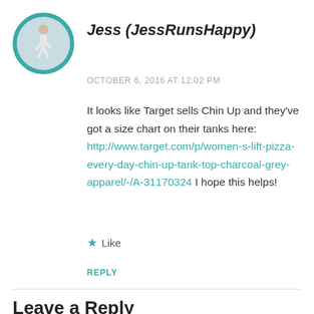[Figure (photo): Circular avatar photo of a person running outdoors, with a teal/turquoise circular border]
Jess (JessRunsHappy)
OCTOBER 6, 2016 AT 12:02 PM
It looks like Target sells Chin Up and they've got a size chart on their tanks here: http://www.target.com/p/women-s-lift-pizza-every-day-chin-up-tank-top-charcoal-grey-apparel/-/A-31170324 I hope this helps!
★ Like
REPLY
Leave a Reply